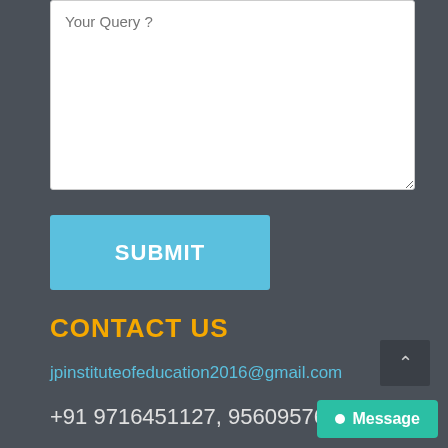[Figure (screenshot): Textarea input field with placeholder text 'Your Query ?']
[Figure (screenshot): Blue SUBMIT button]
CONTACT US
jpinstituteofeducation2016@gmail.com
+91 9716451127, 9560957631
[Figure (screenshot): Scroll to top button with upward caret arrow]
[Figure (screenshot): Green Message chat button]